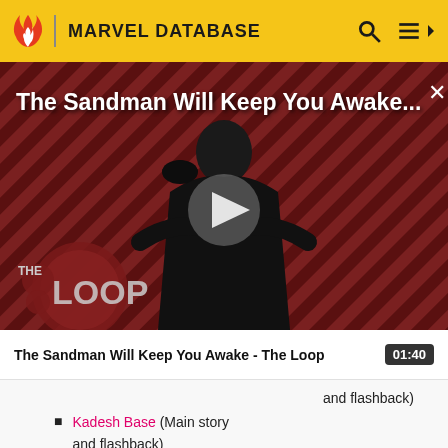MARVEL DATABASE
[Figure (screenshot): Video thumbnail showing a person in dark clothing against a striped red/maroon background with 'THE LOOP' logo overlay and a play button in the center. Title overlay reads 'The Sandman Will Keep You Awake...' with a close button.]
The Sandman Will Keep You Awake - The Loop
and flashback)
Kadesh Base (Main story and flashback)